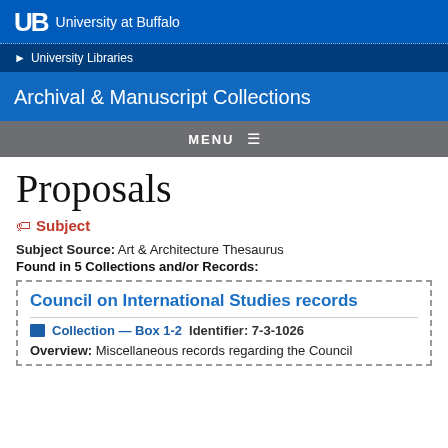UB University at Buffalo
University Libraries
Archival & Manuscript Collections
MENU
Proposals
Subject
Subject Source: Art & Architecture Thesaurus
Found in 5 Collections and/or Records:
Council on International Studies records
Collection — Box 1-2  Identifier: 7-3-1026
Overview: Miscellaneous records regarding the Council